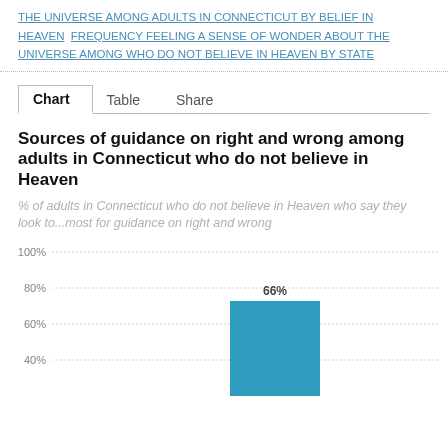THE UNIVERSE AMONG ADULTS IN CONNECTICUT BY BELIEF IN HEAVEN   FREQUENCY FEELING A SENSE OF WONDER ABOUT THE UNIVERSE AMONG WHO DO NOT BELIEVE IN HEAVEN BY STATE
Chart   Table   Share
Sources of guidance on right and wrong among adults in Connecticut who do not believe in Heaven
% of adults in Connecticut who do not believe in Heaven who say they look to...most for guidance on right and wrong
[Figure (bar-chart): Sources of guidance on right and wrong among adults in Connecticut who do not believe in Heaven]